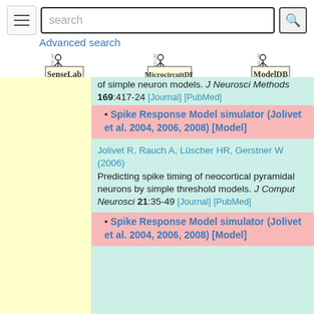[Figure (screenshot): Search bar with hamburger menu, text input box with placeholder 'search', and magnifying glass icon button]
Advanced search
[Figure (logo): SenseLab logo with figure and text]
[Figure (logo): MicrocircuitDB logo with figure and text]
[Figure (logo): ModelDB logo with figure and text]
of simple neuron models. J Neurosci Methods 169:417-24 [Journal] [PubMed]
Spike Response Model simulator (Jolivet et al. 2004, 2006, 2008) [Model]
Jolivet R, Rauch A, Lüscher HR, Gerstner W (2006) Predicting spike timing of neocortical pyramidal neurons by simple threshold models. J Comput Neurosci 21:35-49 [Journal] [PubMed]
Spike Response Model simulator (Jolivet et al. 2004, 2006, 2008) [Model]